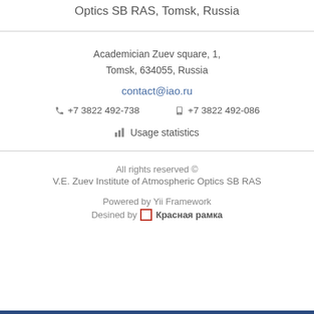Optics SB RAS, Tomsk, Russia
Academician Zuev square, 1,
Tomsk, 634055, Russia
contact@iao.ru
☎ +7 3822 492-738   🖨 +7 3822 492-086
Usage statistics
All rights reserved ©
V.E. Zuev Institute of Atmospheric Optics SB RAS
Powered by Yii Framework
Desined by □ Красная рамка